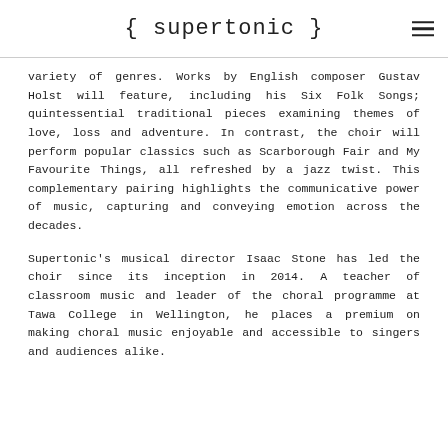{ supertonic }
variety of genres. Works by English composer Gustav Holst will feature, including his Six Folk Songs; quintessential traditional pieces examining themes of love, loss and adventure. In contrast, the choir will perform popular classics such as Scarborough Fair and My Favourite Things, all refreshed by a jazz twist. This complementary pairing highlights the communicative power of music, capturing and conveying emotion across the decades.
Supertonic's musical director Isaac Stone has led the choir since its inception in 2014. A teacher of classroom music and leader of the choral programme at Tawa College in Wellington, he places a premium on making choral music enjoyable and accessible to singers and audiences alike.